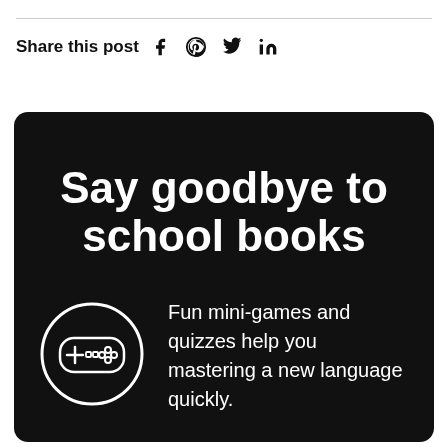Share this post  f  ⊕  𝕏  in
Say goodbye to school books
Fun mini-games and quizzes help you mastering a new language quickly.
[Figure (illustration): Gamepad/controller icon inside a circle, white outline on dark background]